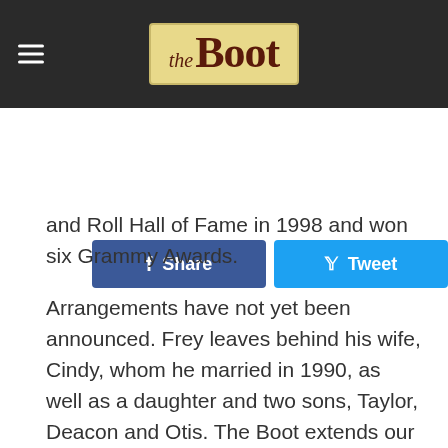the Boot
[Figure (screenshot): Facebook Share button and Twitter Tweet button]
and Roll Hall of Fame in 1998 and won six Grammy Awards.
Arrangements have not yet been announced. Frey leaves behind his wife, Cindy, whom he married in 1990, as well as a daughter and two sons, Taylor, Deacon and Otis. The Boot extends our deepest condolences to his bandmates, family and other loved ones.